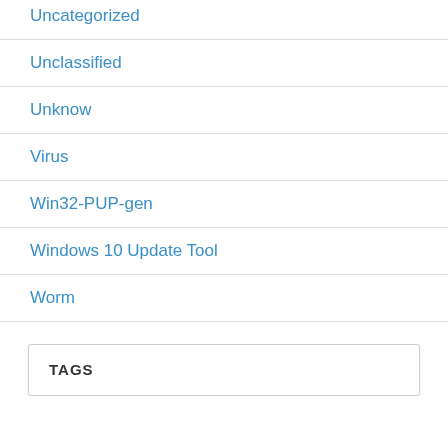Uncategorized
Unclassified
Unknow
Virus
Win32-PUP-gen
Windows 10 Update Tool
Worm
TAGS